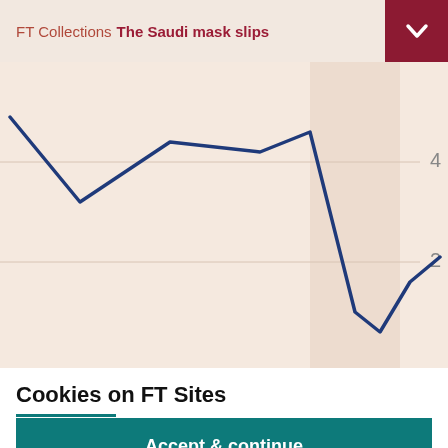FT Collections The Saudi mask slips
[Figure (line-chart): Partial line chart visible behind cookie consent overlay. Dark blue line showing declining trend with values around 4 and 2 on the y-axis. Background is light salmon/peach color with horizontal gridlines.]
Cookies on FT Sites
We use cookies and other data for a number of reasons, such as keeping FT Sites reliable and secure, personalising content and ads, providing social media features and to analyse how our Sites are used.
Manage cookies
Accept & continue